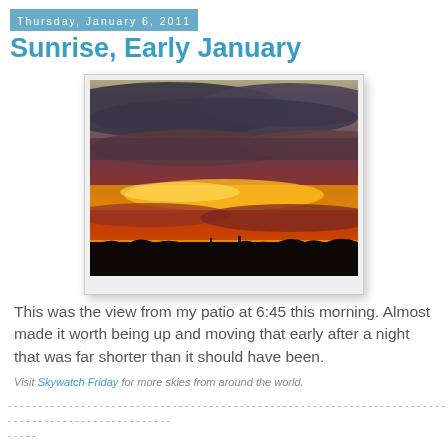Thursday, January 6, 2011
Sunrise, Early January
[Figure (photo): A dramatic sunrise photograph showing layered clouds with deep red, orange, and golden colors. The horizon shows a dark silhouette of trees and buildings with a bright orange glow just above, and golden rays breaking through the cloud layers above.]
This was the view from my patio at 6:45 this morning. Almost made it worth being up and moving that early after a night that was far shorter than it should have been.
Visit Skywatch Friday for more skies from around the world.
- - - - - - - - - - - - - - - - - - - - - - - - - - - - - - - - - - - - - - - - - - - - - - - - - - - - - - - - - - - - - - - - - - - - - - - - - - - - - - - - - - - - - - - - - - - - - - - - - - -
- - - - -